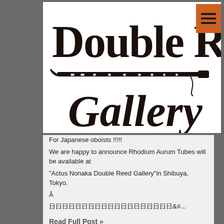[Figure (logo): Double Reed Gallery logo with large stylized text 'Double Reed' on top, a drawing of an oboe/bassoon instrument in the middle, and 'Gallery' in cursive below, all in dark brown/black on white background]
For Japanese oboists !!!!!
We are happy to announce Rhodium Aurum Tubes will be available at
"Actus Nonaka Double Reed Gallery"in Shibuya, Tokyo.
Â
日日日日日日日日日日日日日日日日日日日&#...
Read Full Post »